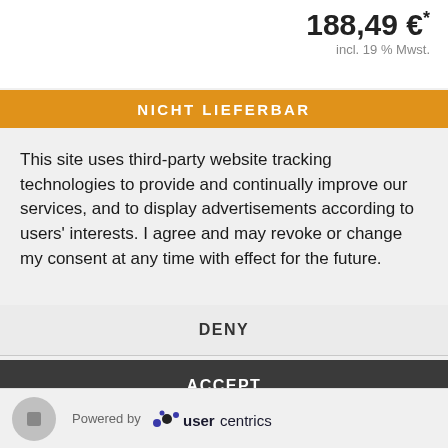188,49 € *
incl. 19 % Mwst.
NICHT LIEFERBAR
This site uses third-party website tracking technologies to provide and continually improve our services, and to display advertisements according to users' interests. I agree and may revoke or change my consent at any time with effect for the future.
DENY
ACCEPT
MORE
Powered by usercentrics